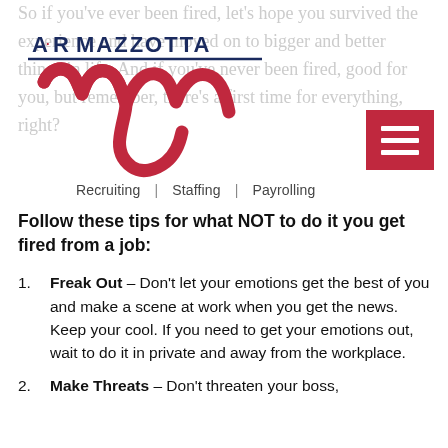[Figure (logo): A·R Mazzotta logo with stylized red M script and underline, with tagline Recruiting | Staffing | Payrolling]
So if you've ever been fired, let's hope you survived the experience and have moved on to bigger and better things in life. And if you've never been fired, good for you, but remember, there's a first time for everything, right?
Follow these tips for what NOT to do it you get fired from a job:
Freak Out – Don't let your emotions get the best of you and make a scene at work when you get the news. Keep your cool. If you need to get your emotions out, wait to do it in private and away from the workplace.
Make Threats – Don't threaten your boss,